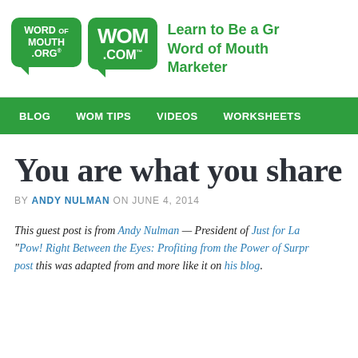[Figure (logo): WOM.com and WordofMouth.org logos with speech bubbles and tagline 'Learn to Be a Great Word of Mouth Marketer']
BLOG   WOM TIPS   VIDEOS   WORKSHEETS
You are what you share
BY ANDY NULMAN ON JUNE 4, 2014
This guest post is from Andy Nulman — President of Just for La... "Pow! Right Between the Eyes: Profiting from the Power of Surpr... post this was adapted from and more like it on his blog.